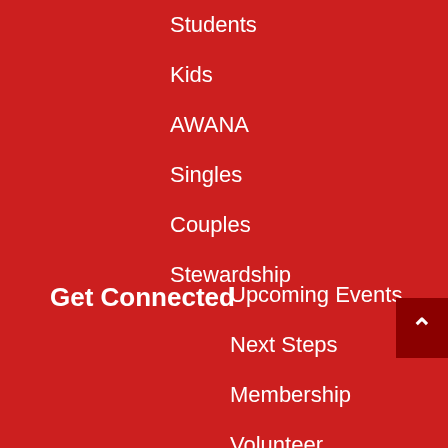Students
Kids
AWANA
Singles
Couples
Stewardship
Get Connected
Upcoming Events
Next Steps
Membership
Volunteer